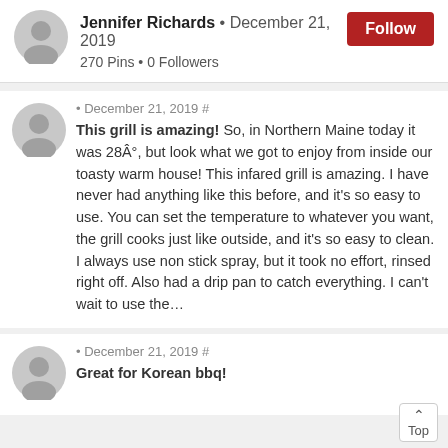[Figure (illustration): Gray circular user avatar icon in the profile header]
Jennifer Richards • December 21, 2019
270 Pins • 0 Followers
[Figure (illustration): Red Follow button]
[Figure (illustration): Gray circular user avatar icon for first review]
• December 21, 2019 #
This grill is amazing! So, in Northern Maine today it was 28Â°, but look what we got to enjoy from inside our toasty warm house! This infared grill is amazing. I have never had anything like this before, and it's so easy to use. You can set the temperature to whatever you want, the grill cooks just like outside, and it's so easy to clean. I always use non stick spray, but it took no effort, rinsed right off. Also had a drip pan to catch everything. I can't wait to use the…
[Figure (illustration): Gray circular user avatar icon for second review]
• December 21, 2019 #
Great for Korean bbq!